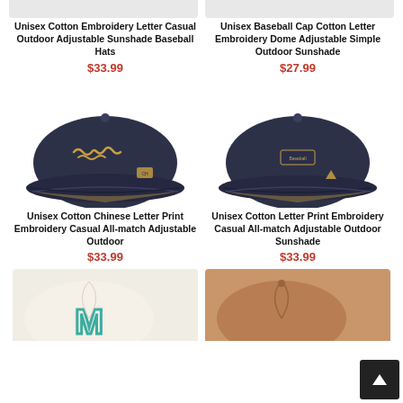[Figure (photo): Partial top of two baseball cap product images (cropped at top of page)]
Unisex Cotton Embroidery Letter Casual Outdoor Adjustable Sunshade Baseball Hats
$33.99
Unisex Baseball Cap Cotton Letter Embroidery Dome Adjustable Simple Outdoor Sunshade
$27.99
[Figure (photo): Dark navy blue baseball cap with cursive gold/tan embroidery on front, small logo patch on side, adjustable strap]
[Figure (photo): Dark navy blue baseball cap with small rectangular logo patch on front and small triangle logo on side, adjustable strap]
Unisex Cotton Chinese Letter Print Embroidery Casual All-match Adjustable Outdoor
$33.99
Unisex Cotton Letter Print Embroidery Casual All-match Adjustable Outdoor Sunshade
$33.99
[Figure (photo): Cream/off-white baseball cap with large teal/green letter M embroidery on front (partially shown, bottom of page)]
[Figure (photo): Tan/caramel suede-look baseball cap (partially shown, bottom of page)]